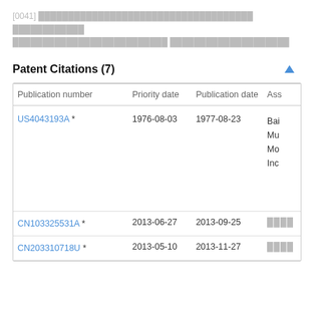[0041] [redacted text in Chinese/obscured characters]
Patent Citations (7)
| Publication number | Priority date | Publication date | Ass |
| --- | --- | --- | --- |
| US4043193A * | 1976-08-03 | 1977-08-23 | Bai Mu Mo Inc |
| CN103325531A * | 2013-06-27 | 2013-09-25 | [CJK] |
| CN203310718U * | 2013-05-10 | 2013-11-27 | [CJK] |